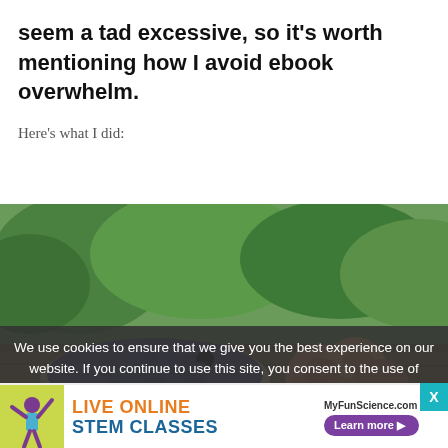seem a tad excessive, so it's worth mentioning how I avoid ebook overwhelm.
Here's what I did:
[Figure (photo): A wooden bowl filled with blueberries next to a box of peaches on a wooden surface, with green foliage in the background.]
We use cookies to ensure that we give you the best experience on our website. If you continue to use this site, you consent to the use of
LIVE ONLINE STEM CLASSES — MyFunScience.com — Learn more